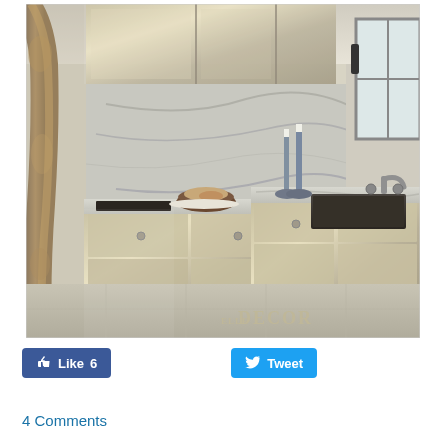[Figure (photo): Interior kitchen photo from Elle Decor showing metallic/silver cabinet fronts with marble backsplash and countertop, a dark undermount sink, faucet, candle holders, decorative bowl with bread, ornate gold-framed mirror on left, and window on right. Elle Decor watermark in bottom right.]
Like 6
Tweet
4 Comments